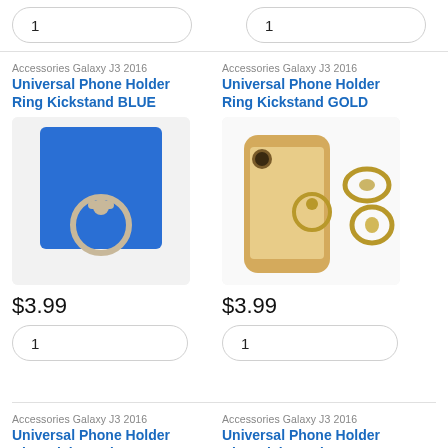1
1
Accessories Galaxy J3 2016
Universal Phone Holder Ring Kickstand BLUE
[Figure (photo): Blue phone ring kickstand holder product photo]
$3.99
1
Accessories Galaxy J3 2016
Universal Phone Holder Ring Kickstand GOLD
[Figure (photo): Gold phone ring kickstand holder shown on gold iPhone and standalone]
$3.99
1
Accessories Galaxy J3 2016
Universal Phone Holder Ring Kickstand GRAY
[Figure (photo): Gray phone ring kickstand holder product photo (partially visible)]
Accessories Galaxy J3 2016
Universal Phone Holder Ring Kickstand PINK
[Figure (photo): Pink phone ring kickstand holder product photo (partially visible)]